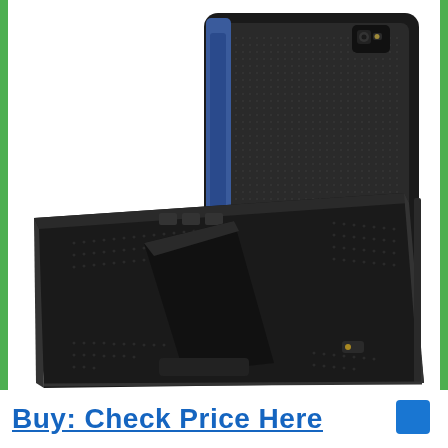[Figure (photo): Product photo of a black protective tablet case with kickstand for Samsung Galaxy tablet, shown from two angles: back view and open kickstand view]
Buy: Check Price Here